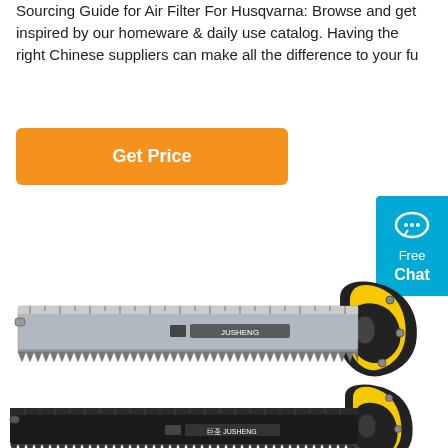Sourcing Guide for Air Filter For Husqvarna: Browse and get inspired by our homeware & daily use catalog. Having the right Chinese suppliers can make all the difference to your fu
[Figure (other): Orange 'Get Price' button]
[Figure (other): Cyan 'Free Chat' widget with speech bubble icon]
[Figure (photo): Silver/metallic hand saw with yellow and black handle, branded JUSHENG]
[Figure (photo): Black hand saw with yellow and black handle, branded JUSHENG]